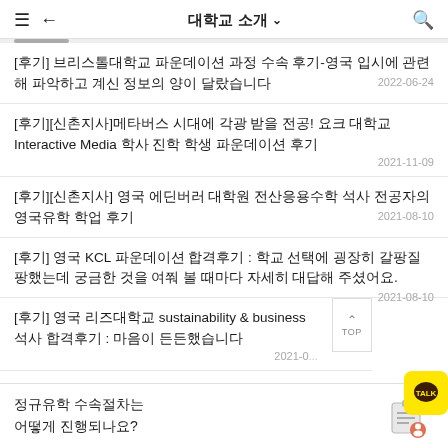대학교 소개
[후기] 브리스톨대학교 파운데이션 과정 수속 후기-영국 입시에 관련해 파악하고 계신 정보의 양이 달랐습니다
[후기][신촌지사]메타버스 시대에 각광 받을 전공! 요크 대학교 Interactive Media 학사 진학 학생 파운데이션 후기
[후기][신촌지사] 영국 에딘버러 대학원 전산응용수학 석사 전공자의 영국유학 학업 후기
[후기] 영국 KCL 파운데이션 합격후기 : 학교 선택에 굉장히 갈팡질팡했는데 궁금한 것을 여쭤 볼 때마다 자세히 대답해 주셨어요.
[후기] 영국 리즈대학교 sustainability & business 석사 합격후기 : 마음이 든든했습니다
정규유학 수속절차는 어떻게 진행되나요?